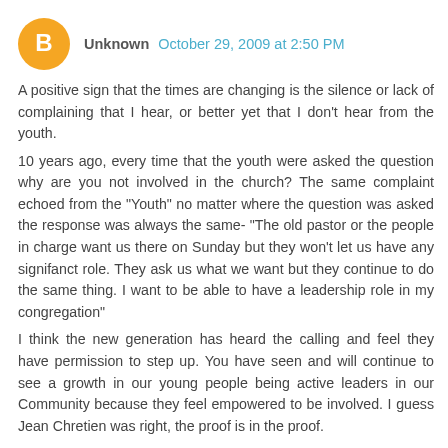Unknown October 29, 2009 at 2:50 PM
A positive sign that the times are changing is the silence or lack of complaining that I hear, or better yet that I don't hear from the youth.
10 years ago, every time that the youth were asked the question why are you not involved in the church? The same complaint echoed from the "Youth" no matter where the question was asked the response was always the same- "The old pastor or the people in charge want us there on Sunday but they won't let us have any signifanct role. They ask us what we want but they continue to do the same thing. I want to be able to have a leadership role in my congregation"
I think the new generation has heard the calling and feel they have permission to step up. You have seen and will continue to see a growth in our young people being active leaders in our Community because they feel empowered to be involved. I guess Jean Chretien was right, the proof is in the proof.
Reply